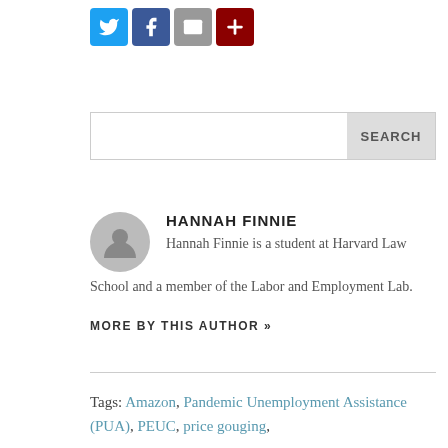[Figure (other): Social sharing icons: Twitter (blue bird), Facebook (blue f), Email (grey envelope), More (dark red plus)]
[Figure (other): Search bar with grey SEARCH button on the right]
HANNAH FINNIE
Hannah Finnie is a student at Harvard Law School and a member of the Labor and Employment Lab.
MORE BY THIS AUTHOR »
Tags: Amazon, Pandemic Unemployment Assistance (PUA), PEUC, price gouging,